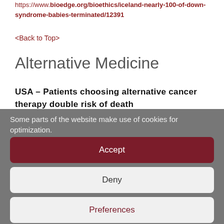https://www.bioedge.org/bioethics/iceland-nearly-100-of-down-syndrome-babies-terminated/12391
<Back to Top>
Alternative Medicine
USA – Patients choosing alternative cancer therapy double risk of death
Some parts of the website make use of cookies for optimization.
Accept
Deny
Preferences